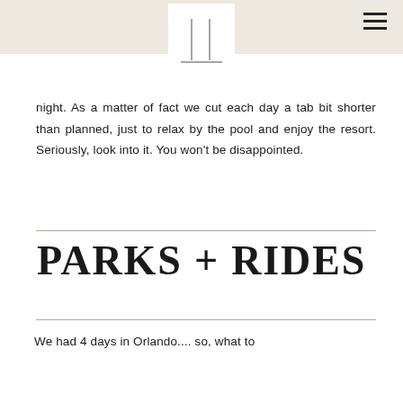[Figure (logo): Minimalist logo with two vertical lines and a horizontal baseline, white box on beige header]
night. As a matter of fact we cut each day a tab bit shorter than planned, just to relax by the pool and enjoy the resort. Seriously, look into it. You won't be disappointed.
PARKS + RIDES
We had 4 days in Orlando.... so, what to